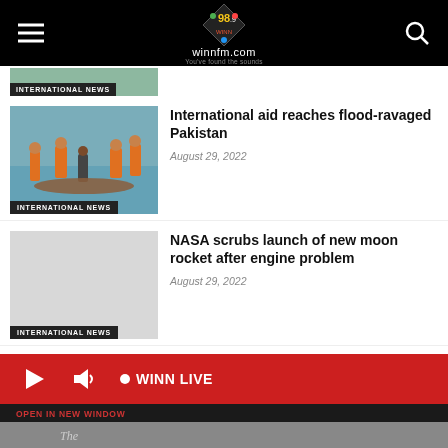winnfm.com 98.9
[Figure (photo): Partial view of a news image with INTERNATIONAL NEWS badge visible at bottom]
International aid reaches flood-ravaged Pakistan
August 29, 2022
[Figure (photo): Rescue workers in orange vests helping people in flood waters in Pakistan]
NASA scrubs launch of new moon rocket after engine problem
August 29, 2022
[Figure (photo): Grey placeholder image for NASA article with INTERNATIONAL NEWS badge]
[Figure (screenshot): Radio player bar showing play button, volume, and WINN LIVE label; OPEN IN NEW WINDOW bar below]
[Figure (photo): Partial bottom image strip]